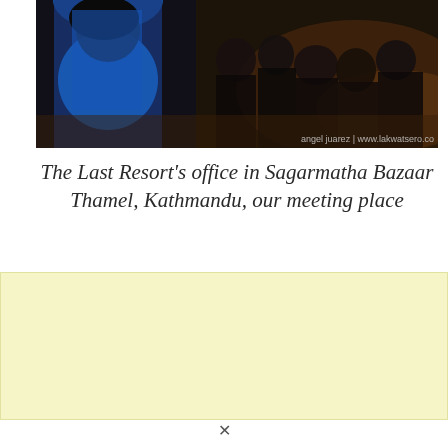[Figure (photo): Group photo in dark indoor setting; woman in blue on left, group of people seated/standing on right; watermark reads 'angel juarez | www.lakwatsero.co']
The Last Resort's office in Sagarmatha Bazaar Thamel, Kathmandu, our meeting place
[Figure (other): Advertisement block with light yellow background]